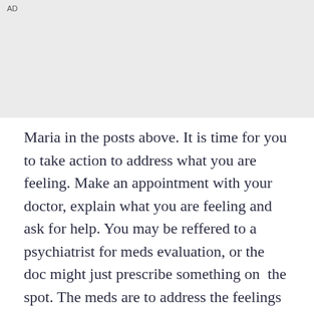AD
Maria in the posts above. It is time for you to take action to address what you are feeling. Make an appointment with your doctor, explain what you are feeling and ask for help. You may be reffered to a psychiatrist for meds evaluation, or the doc might just prescribe something on  the spot. The meds are to address the feelings and will take 3-8 weeks to work, but they are not an answer to what lies within. They are a tool to help balance you so you can engage and address the underlying issues. For this you will need the services of a counsellor or psychologist. It will be confronting and difficult at first - the meaningful things usually are - but you will soon establish a connection with your counsellor and be